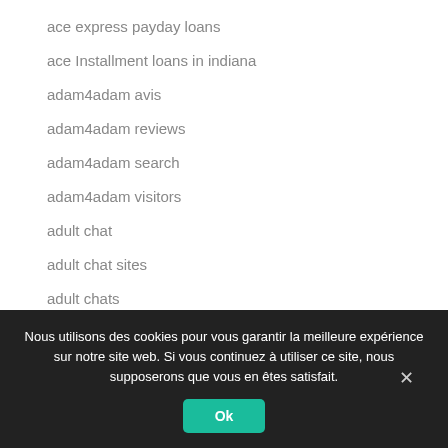ace express payday loans
ace Installment loans in indiana
adam4adam avis
adam4adam reviews
adam4adam search
adam4adam visitors
adult chat
adult chat sites
adult chats
adult dating
Nous utilisons des cookies pour vous garantir la meilleure expérience sur notre site web. Si vous continuez à utiliser ce site, nous supposerons que vous en êtes satisfait.
Ok